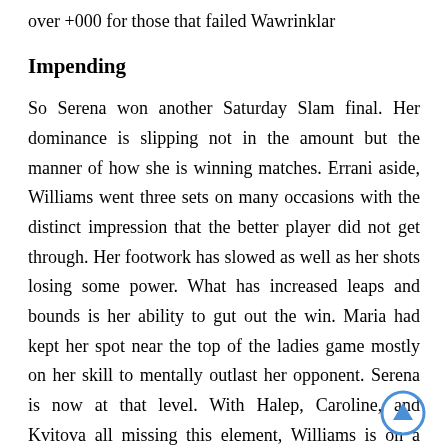over +000 for those that failed Wawrinklar
Impending
So Serena won another Saturday Slam final. Her dominance is slipping not in the amount but the manner of how she is winning matches. Errani aside, Williams went three sets on many occasions with the distinct impression that the better player did not get through. Her footwork has slowed as well as her shots losing some power. What has increased leaps and bounds is her ability to gut out the win. Maria had kept her spot near the top of the ladies game mostly on her skill to mentally outlast her opponent. Serena is now at that level. With Halep, Caroline, and Kvitova all missing this element, Williams is on a perch she should have been shoved off. Lots of talent but